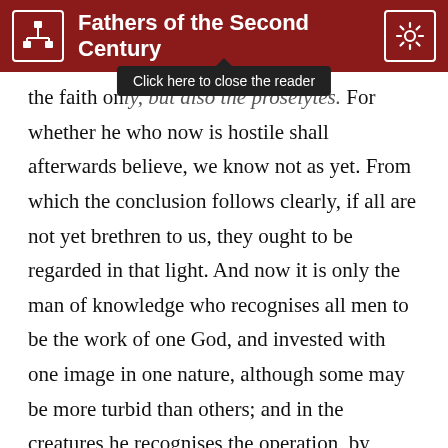Fathers of the Second Century
[Figure (screenshot): Tooltip popup reading 'Click here to close the reader' overlaying the top of the text area]
the faith only, but also the proselytes. For whether he who now is hostile shall afterwards believe, we know not as yet. From which the conclusion follows clearly, if all are not yet brethren to us, they ought to be regarded in that light. And now it is only the man of knowledge who recognises all men to be the work of one God, and invested with one image in one nature, although some may be more turbid than others; and in the creatures he recognises the operation, by which again he adores the will of God.
“Know ye not that the unrighteous shall not